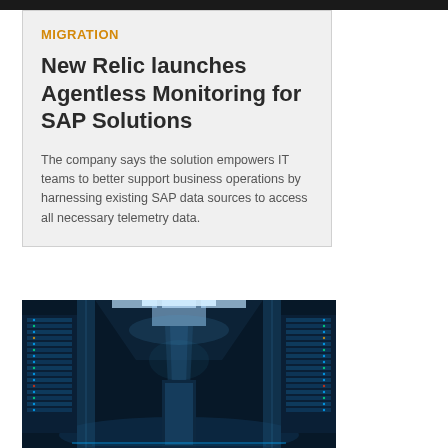MIGRATION
New Relic launches Agentless Monitoring for SAP Solutions
The company says the solution empowers IT teams to better support business operations by harnessing existing SAP data sources to access all necessary telemetry data.
[Figure (photo): Interior corridor of a modern data center with blue-lit server racks on both sides and ceiling lighting panels]